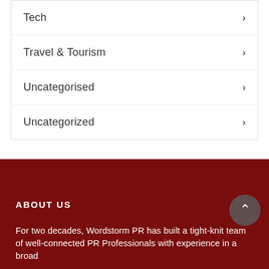Tech
Travel & Tourism
Uncategorised
Uncategorized
ABOUT US
For two decades, Wordstorm PR has built a tight-knit team of well-connected PR Professionals with experience in a broad